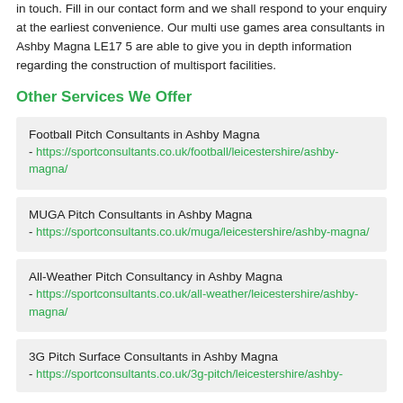in touch. Fill in our contact form and we shall respond to your enquiry at the earliest convenience. Our multi use games area consultants in Ashby Magna LE17 5 are able to give you in depth information regarding the construction of multisport facilities.
Other Services We Offer
Football Pitch Consultants in Ashby Magna - https://sportconsultants.co.uk/football/leicestershire/ashby-magna/
MUGA Pitch Consultants in Ashby Magna - https://sportconsultants.co.uk/muga/leicestershire/ashby-magna/
All-Weather Pitch Consultancy in Ashby Magna - https://sportconsultants.co.uk/all-weather/leicestershire/ashby-magna/
3G Pitch Surface Consultants in Ashby Magna - https://sportconsultants.co.uk/3g-pitch/leicestershire/ashby-